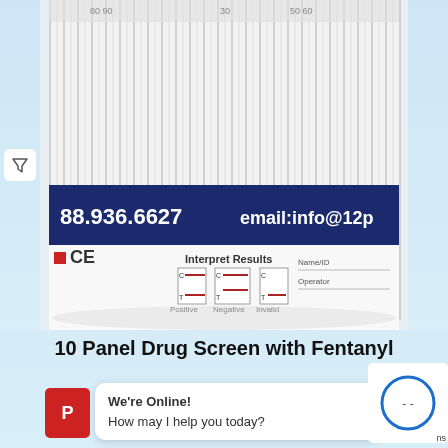[Figure (photo): Close-up photo of a 10 panel drug screening cup with navy blue label band showing phone number 88.936.6627 and email:info@12p, CE marking, and 'Interpret Results' diagram showing Positive, Negative, and Invalid result interpretations with C and T line indicators.]
10 Panel Drug Screen with Fentanyl
As low as $2.39
We're Online! How may I help you today?